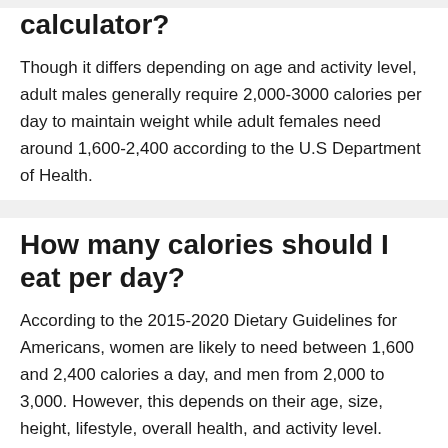calculator?
Though it differs depending on age and activity level, adult males generally require 2,000-3000 calories per day to maintain weight while adult females need around 1,600-2,400 according to the U.S Department of Health.
How many calories should I eat per day?
According to the 2015-2020 Dietary Guidelines for Americans, women are likely to need between 1,600 and 2,400 calories a day, and men from 2,000 to 3,000. However, this depends on their age, size, height, lifestyle, overall health, and activity level.